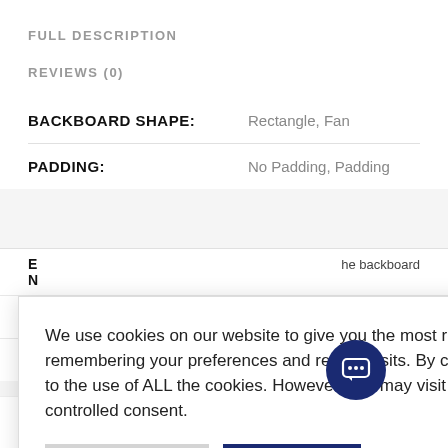FULL DESCRIPTION
REVIEWS (0)
| Attribute | Value |
| --- | --- |
| BACKBOARD SHAPE: | Rectangle, Fan |
| PADDING: | No Padding, Padding |
We use cookies on our website to give you the most relevant experience by remembering your preferences and repeat visits. By clicking "Accept All", you consent to the use of ALL the cookies. However, you may visit "Cookie Settings" to provide a controlled consent.
Cookie Settings | Accept All
he backboard
9cm)
ails / Black a